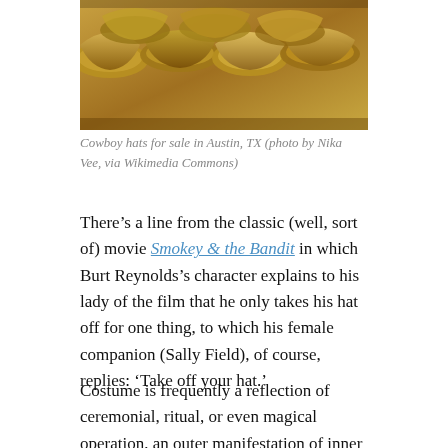[Figure (photo): Rows of golden/tan cowboy hats stacked and displayed for sale, viewed from above at an angle.]
Cowboy hats for sale in Austin, TX (photo by Nika Vee, via Wikimedia Commons)
There's a line from the classic (well, sort of) movie Smokey & the Bandit in which Burt Reynolds's character explains to his lady of the film that he only takes his hat off for one thing, to which his female companion (Sally Field), of course, replies: ‘Take off your hat.’
Costume is frequently a reflection of ceremonial, ritual, or even magical operation, an outer manifestation of inner desire or